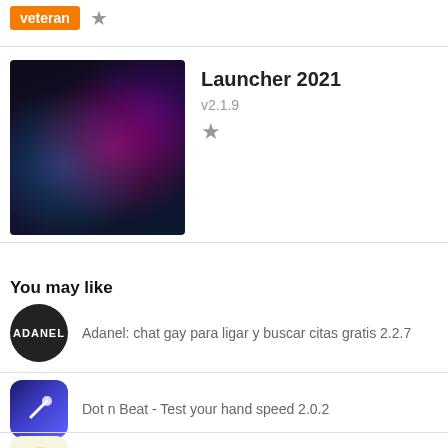[Figure (other): Orange badge with text 'veteran' and a gray star icon]
[Figure (screenshot): Launcher 2021 app thumbnail showing colorful neon phone wallpapers on dark background]
Launcher 2021
v2.1.9
[Figure (other): Gray star rating icon]
You may like
Adanel: chat gay para ligar y buscar citas gratis 2.2.7
Dot n Beat - Test your hand speed 2.0.2
Animated Sticker For WhatsApp - WAStickerApps 73